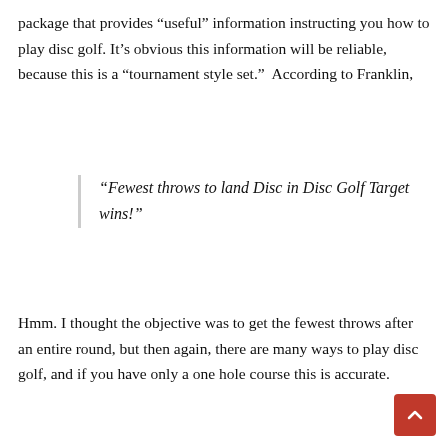package that provides “useful” information instructing you how to play disc golf. It’s obvious this information will be reliable, because this is a “tournament style set.”  According to Franklin,
“Fewest throws to land Disc in Disc Golf Target wins!”
Hmm. I thought the objective was to get the fewest throws after an entire round, but then again, there are many ways to play disc golf, and if you have only a one hole course this is accurate.